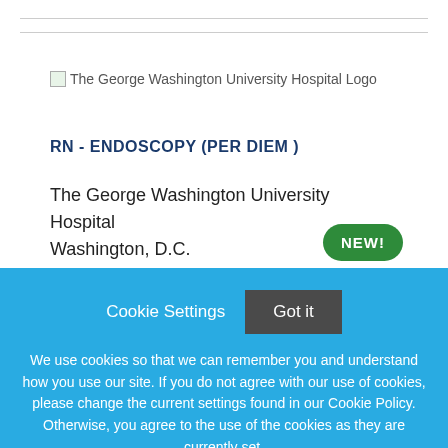[Figure (logo): The George Washington University Hospital Logo placeholder image]
RN - ENDOSCOPY (PER DIEM )
The George Washington University Hospital
Washington, D.C.
NEW!
Cookie Settings  Got it
We use cookies so that we can remember you and understand how you use our site. If you do not agree with our use of cookies, please change the current settings found in our Cookie Policy. Otherwise, you agree to the use of the cookies as they are currently set.